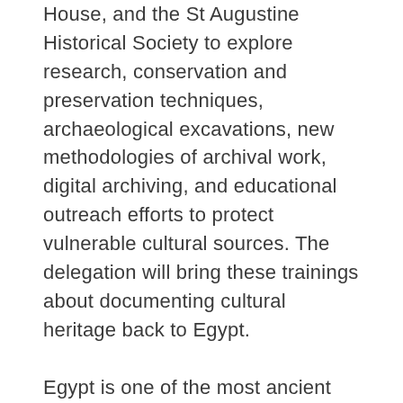House, and the St Augustine Historical Society to explore research, conservation and preservation techniques, archaeological excavations, new methodologies of archival work, digital archiving, and educational outreach efforts to protect vulnerable cultural sources. The delegation will bring these trainings about documenting cultural heritage back to Egypt.
Egypt is one of the most ancient civilizations whose recorded history has had a prominent influence on the world. Following the Arab Spring revolution of 2011, the majority of Egypt's key archeological sites have been looted. Around $3 billion worth of